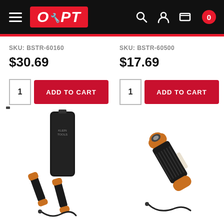[Figure (screenshot): OPT store website header with hamburger menu, OPT logo in red box, search icon, user icon, cart icon with 0 badge]
SKU: BSTR-60160
$30.69
SKU: BSTR-60500
$17.69
1  ADD TO CART
1  ADD TO CART
[Figure (photo): Klein Tools flashlight set with black nylon holster, orange and black torch, and USB charging cable]
[Figure (photo): Klein Tools flashlight with orange end caps, black body, and USB charging cable]